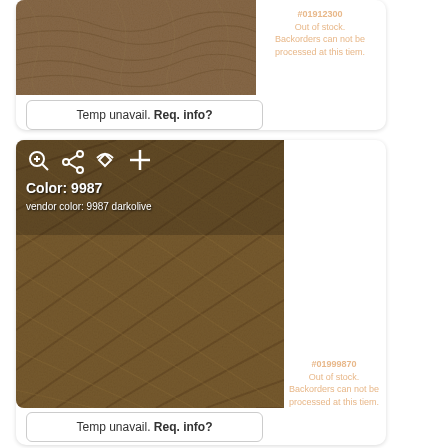[Figure (photo): Close-up photo of brown/taupe yarn coiled together, top product card]
#01912300
Out of stock.
Backorders can not be processed at this tiem.
Temp unavail. Req. info?
[Figure (photo): Close-up photo of dark olive/brown yarn with icons overlay showing Color: 9987, vendor color: 9987 darkolive]
#01999870
Out of stock.
Backorders can not be processed at this tiem.
Temp unavail. Req. info?